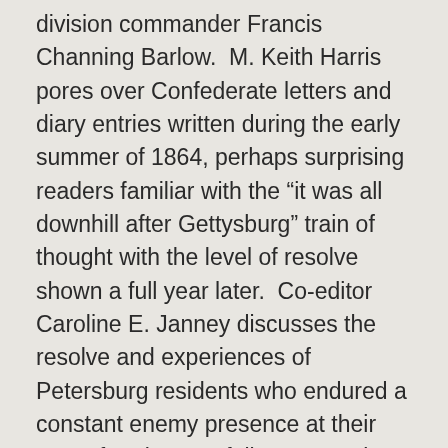division commander Francis Channing Barlow.  M. Keith Harris pores over Confederate letters and diary entries written during the early summer of 1864, perhaps surprising readers familiar with the “it was all downhill after Gettysburg” train of thought with the level of resolve shown a full year later.  Co-editor Caroline E. Janney discusses the resolve and experiences of Petersburg residents who endured a constant enemy presence at their gates for almost a full year.  Kevin Levin examines the perceptions of White soldiers before and after the first major fight for Black troops in the Army of the Potomac at the Crater.  In the last of the ten main essays, Stephen Cushman examines two novels and a movie which represent the Battle of the Crater and its aftermath in different ways.  A bibliographic essay, common to this series, gives interested readers numerous books to